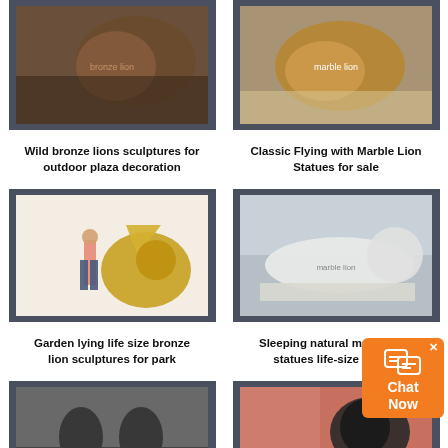[Figure (photo): Wild bronze lion sculpture close-up, outdoor]
[Figure (photo): Classic flying marble lion statue, orange/golden color]
Wild bronze lions sculptures for outdoor plaza decoration
Classic Flying with Marble Lion Statues for sale
[Figure (photo): Garden lying life size bronze lion sculpture with winged golden lion, girl standing next to it for scale]
[Figure (photo): Sleeping natural marble lion statue, white, life-size]
Garden lying life size bronze lion sculptures for park
Sleeping natural marble lion statues life-size animal
[Figure (photo): Pair of small black bronze lion statues on pedestals, black and white photo]
[Figure (photo): Dark bronze lion statue on red building exterior]